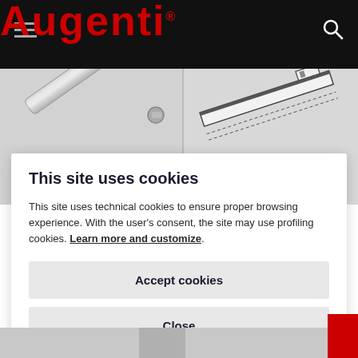[Figure (screenshot): Augenti website header with black background, red Augenti logo, hamburger menu icon on left, search icon on right]
[Figure (photo): Two product images side by side on grey background — left shows a chrome rail/rod product, right shows a technical diagram of a rail component]
This site uses cookies
This site uses technical cookies to ensure proper browsing experience. With the user's consent, the site may use profiling cookies. Learn more and customize.
Accept cookies
Close